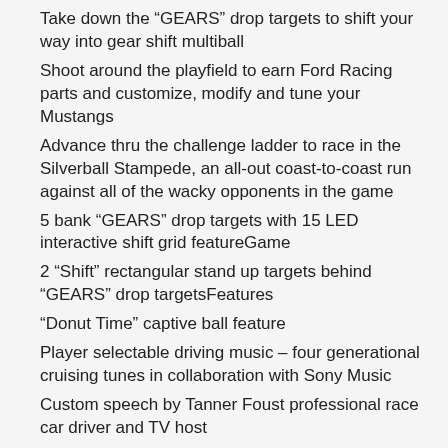Take down the “GEARS” drop targets to shift your way into gear shift multiball
Shoot around the playfield to earn Ford Racing parts and customize, modify and tune your Mustangs
Advance thru the challenge ladder to race in the Silverball Stampede, an all-out coast-to-coast run against all of the wacky opponents in the game
5 bank “GEARS” drop targets with 15 LED interactive shift grid featureGame
2 “Shift” rectangular stand up targets behind “GEARS” drop targetsFeatures
“Donut Time” captive ball feature
Player selectable driving music – four generational cruising tunes in collaboration with Sony Music
Custom speech by Tanner Foust professional race car driver and TV host
Actual Mustang engine sounds
All LED general illumination and control lamps